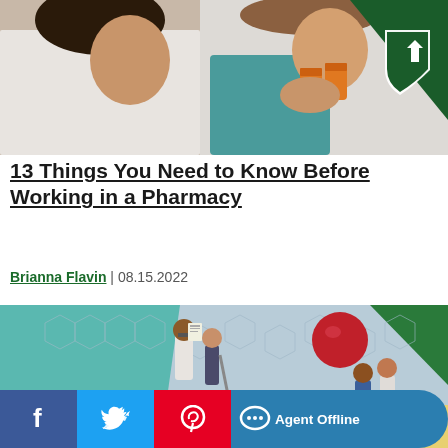[Figure (photo): Two women in white lab coats in a pharmacy setting, one holding an orange prescription bottle, with a dark green triangle and white shield logo in the top-right corner]
13 Things You Need to Know Before Working in a Pharmacy
Brianna Flavin | 08.15.2022
[Figure (illustration): Isometric illustration showing healthcare workers assisting patients on a hexagonal tile floor, with teal and green geometric shapes in background]
[Figure (infographic): Social sharing bar with Facebook, Twitter, Pinterest icons and Agent Offline chat button]